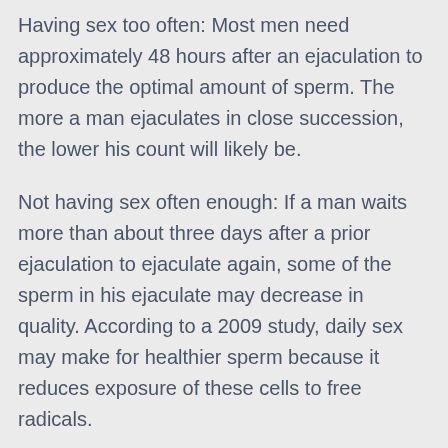Having sex too often: Most men need approximately 48 hours after an ejaculation to produce the optimal amount of sperm. The more a man ejaculates in close succession, the lower his count will likely be.
Not having sex often enough: If a man waits more than about three days after a prior ejaculation to ejaculate again, some of the sperm in his ejaculate may decrease in quality. According to a 2009 study, daily sex may make for healthier sperm because it reduces exposure of these cells to free radicals.
Having radiation or chemotherapy: These potentially live-saving treatments can have severe side effects, including infertility. "Chemotherapy and radiation therapy are always